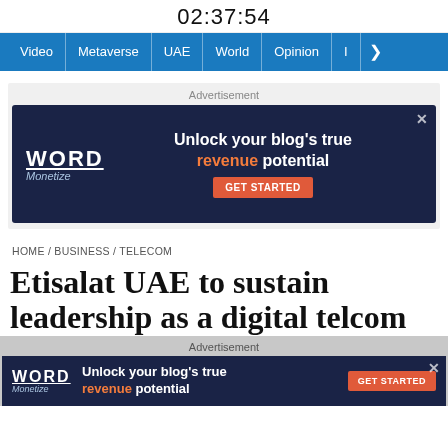02:37:54
Video | Metaverse | UAE | World | Opinion | >
Advertisement
[Figure (screenshot): Word Monetize advertisement banner: 'Unlock your blog's true revenue potential' with GET STARTED button]
HOME / BUSINESS / TELECOM
Etisalat UAE to sustain leadership as a digital telcom
Advertisement
[Figure (screenshot): Word Monetize advertisement banner (compact): 'Unlock your blog's true revenue potential' with GET STARTED button]